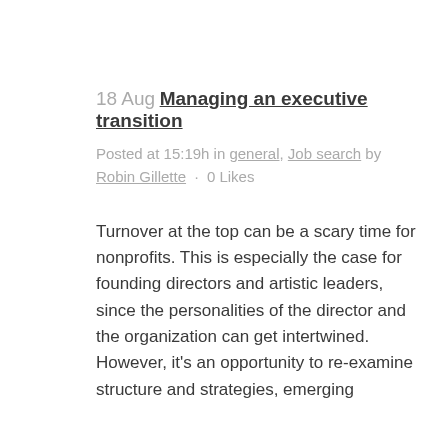18 Aug Managing an executive transition
Posted at 15:19h in general, Job search by Robin Gillette · 0 Likes
Turnover at the top can be a scary time for nonprofits. This is especially the case for founding directors and artistic leaders, since the personalities of the director and the organization can get intertwined. However, it's an opportunity to re-examine structure and strategies, emerging